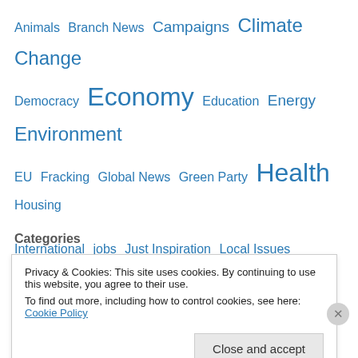Animals  Branch News  Campaigns  Climate Change  Democracy  Economy  Education  Energy  Environment  EU  Fracking  Global News  Green Party  Health  Housing  International  jobs  Just Inspiration  Local Issues  News & Views  Policies  Regional News  Representatives  Society  Transport  Uncategorized  Welfare
Categories
Privacy & Cookies: This site uses cookies. By continuing to use this website, you agree to their use.
To find out more, including how to control cookies, see here: Cookie Policy
Close and accept